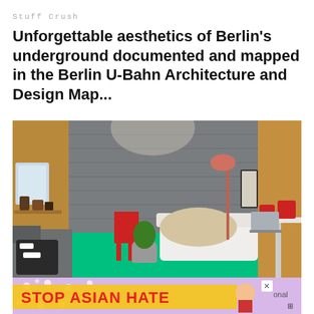Stuff Crush
Unforgettable aesthetics of Berlin's underground documented and mapped in the Berlin U-Bahn Architecture and Design Map...
[Figure (photo): Interior room photo showing a cozy A-frame space with grey brick walls, wooden framing, a white sofa with fur throw, red chair, potted plant, green floor, grey sofa on left, and a desk with red mugs on the right.]
City Notes
[Figure (other): Advertisement banner reading STOP ASIAN HATE with cartoon figure, lavender background with white flower pattern, and a close button.]